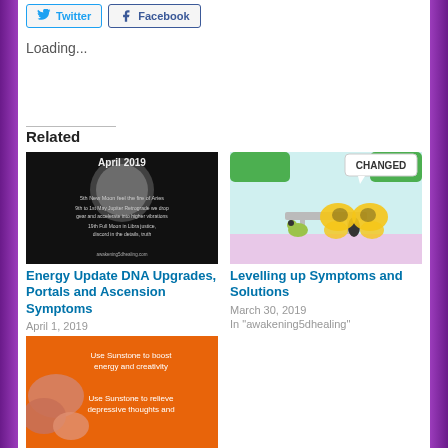[Figure (other): Twitter and Facebook share buttons]
Loading...
Related
[Figure (photo): April 2019 astrology update image with text: 5th New Moon feel the fire of Aries, 9th to 1st May Jupiter Retrograde we drop gear and accelerate into higher vibrations, 19th Full Moon in Libra justice discord in the details truth, awakening5dhealing.com]
Energy Update DNA Upgrades, Portals and Ascension Symptoms
April 1, 2019
In "awakening5dhealing"
[Figure (illustration): Cartoon of a caterpillar and butterfly sitting at a table with speech bubble saying CHANGED]
Levelling up Symptoms and Solutions
March 30, 2019
In "awakening5dhealing"
[Figure (photo): Orange background image with crystals/sunstone, text: Use Sunstone to relieve depressive thoughts and boost energy and creativity]